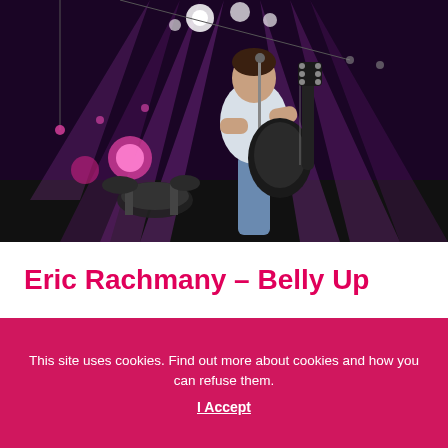[Figure (photo): Concert photo of Eric Rachmany performing on stage with a black electric guitar, wearing a white t-shirt and blue jeans, with purple stage lighting and drum kit visible in background]
Eric Rachmany – Belly Up
This site uses cookies. Find out more about cookies and how you can refuse them.
I Accept